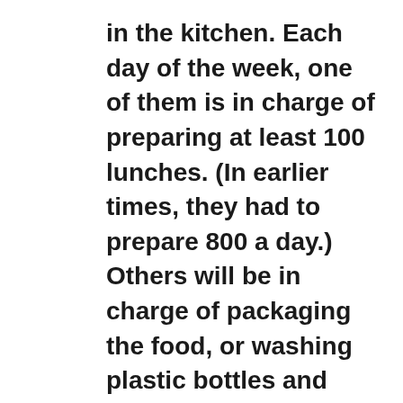in the kitchen. Each day of the week, one of them is in charge of preparing at least 100 lunches. (In earlier times, they had to prepare 800 a day.) Others will be in charge of packaging the food, or washing plastic bottles and filling them with water to later tie up in pairs (to make the delivery easier). They also pick up bread donations at different supermarkets and produce from a market